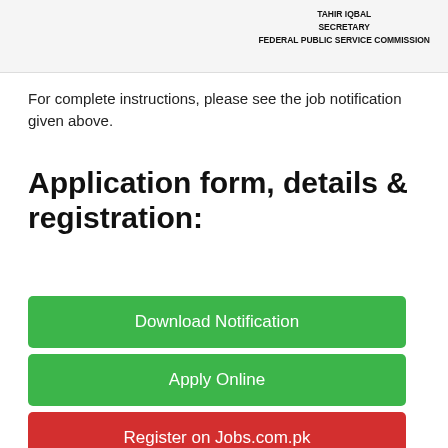TAHIR IQBAL
SECRETARY
FEDERAL PUBLIC SERVICE COMMISSION
For complete instructions, please see the job notification given above.
Application form, details & registration:
Download Notification
Apply Online
Register on Jobs.com.pk
FPSC Jobs